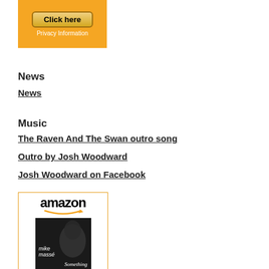[Figure (other): Orange advertisement box with 'Click here' button and 'Privacy Information' text below]
News
News
Music
The Raven And The Swan outro song
Outro by Josh Woodward
Josh Woodward on Facebook
[Figure (other): Amazon advertisement box showing amazon logo with smile and an album cover for 'mike massé - Something']